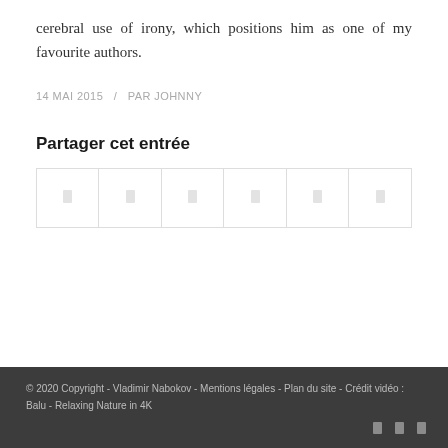cerebral use of irony, which positions him as one of my favourite authors.
14 MAI 2015  /  PAR JOHNNY
Partager cet entrée
[Figure (other): Social share buttons row with 6 icon cells in a bordered table]
© 2020 Copyright - Vladimir Nabokov - Mentions légales - Plan du site - Crédit vidéo : Balu - Relaxing Nature in 4K